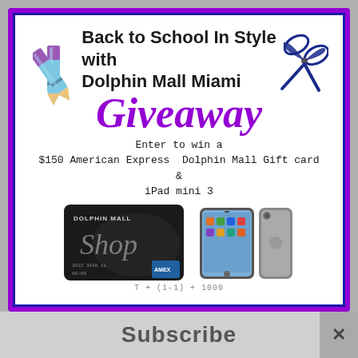Back to School In Style with Dolphin Mall Miami
Giveaway
Enter to win a
$150 American Express Dolphin Mall Gift card
&
iPad mini 3
[Figure (photo): Dolphin Mall shop gift card and iPad mini 3 side and back view]
Subscribe
×